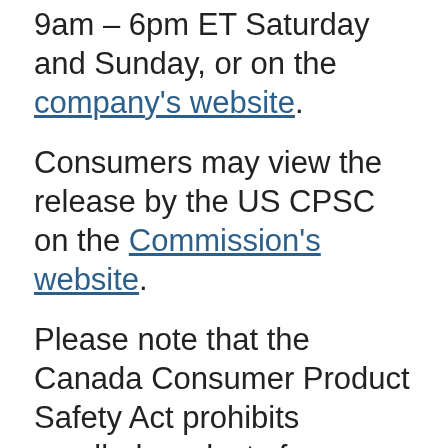9am – 6pm ET Saturday and Sunday, or on the company's website.
Consumers may view the release by the US CPSC on the Commission's website.
Please note that the Canada Consumer Product Safety Act prohibits recalled products from being redistributed, sold or even given away in Canada.
Health Canada would like to remind Canadians to report any health or safety incidents related to the use of this product or any other consumer product or cosmetic by filling out the Consumer Product